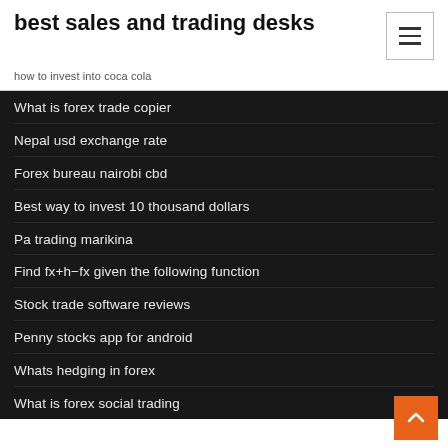best sales and trading desks
how to invest into coca cola
What is forex trade copier
Nepal usd exchange rate
Forex bureau nairobi cbd
Best way to invest 10 thousand dollars
Pa trading marikina
Find fx+h−fx given the following function
Stock trade software reviews
Penny stocks app for android
Whats hedging in forex
What is forex social trading